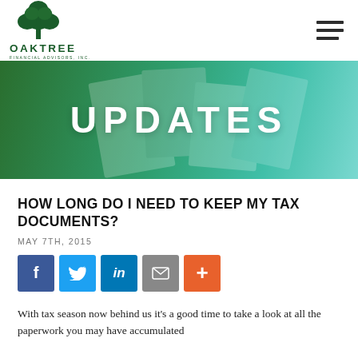Oaktree Financial Advisors, Inc.
[Figure (illustration): Oaktree Financial Advisors Inc. logo with oak tree graphic and company name]
[Figure (infographic): UPDATES banner with green-to-teal gradient background and hands holding documents in background]
HOW LONG DO I NEED TO KEEP MY TAX DOCUMENTS?
MAY 7TH, 2015
[Figure (infographic): Social share buttons: Facebook, Twitter, LinkedIn, Email, More (+)]
With tax season now behind us it's a good time to take a look at all the paperwork you may have accumulated